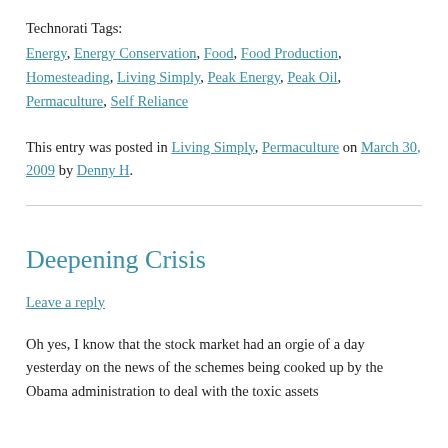Technorati Tags:
Energy, Energy Conservation, Food, Food Production, Homesteading, Living Simply, Peak Energy, Peak Oil, Permaculture, Self Reliance
This entry was posted in Living Simply, Permaculture on March 30, 2009 by Denny H.
Deepening Crisis
Leave a reply
Oh yes, I know that the stock market had an orgie of a day yesterday on the news of the schemes being cooked up by the Obama administration to deal with the toxic assets